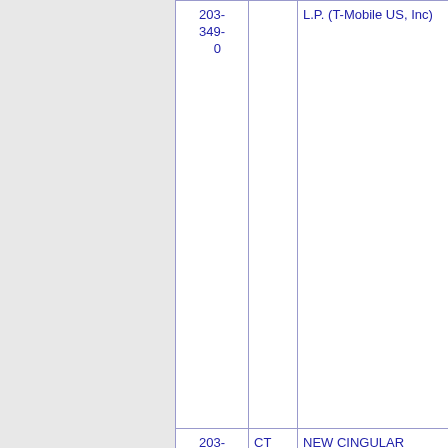| Number | State | Name | Code |  |
| --- | --- | --- | --- | --- |
| 203-349-0 |  | L.P. (T-Mobile US, Inc) |  |  |
| 203-349-1 | CT | NEW CINGULAR WIRELESS PCS, LLC (AT&T Wireless) | 4036 |  |
| 203-349-2 | CT | BANDWIDTH.COM CLEC, LLC - CT | 199F |  |